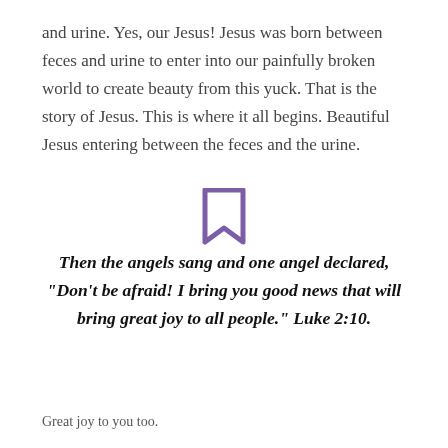and urine. Yes, our Jesus! Jesus was born between feces and urine to enter into our painfully broken world to create beauty from this yuck. That is the story of Jesus. This is where it all begins. Beautiful Jesus entering between the feces and the urine.
[Figure (illustration): Purple bookmark icon (outline of a ribbon bookmark shape)]
Then the angels sang and one angel declared, "Don't be afraid! I bring you good news that will bring great joy to all people." Luke 2:10.
Great joy to you too.